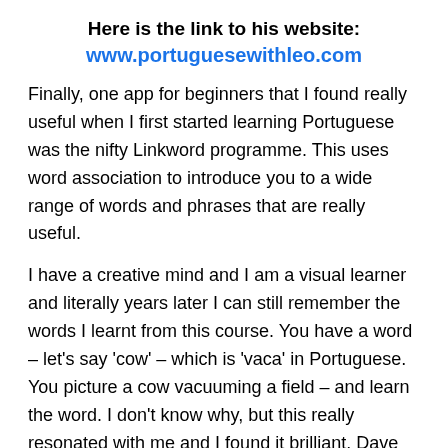Here is the link to his website:
www.portuguesewithleo.com
Finally, one app for beginners that I found really useful when I first started learning Portuguese was the nifty Linkword programme. This uses word association to introduce you to a wide range of words and phrases that are really useful.
I have a creative mind and I am a visual learner and literally years later I can still remember the words I learnt from this course. You have a word – let's say 'cow' – which is 'vaca' in Portuguese. You picture a cow vacuuming a field – and learn the word. I don't know why, but this really resonated with me and I found it brilliant. Dave hated it!
Here is the link to the website: